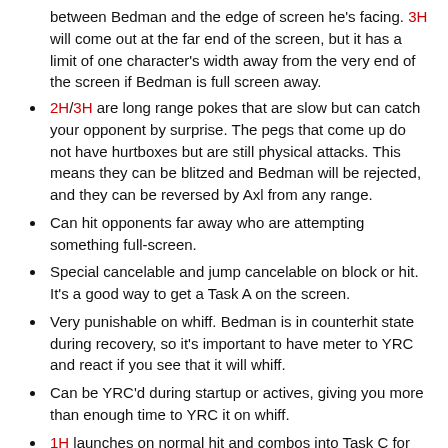between Bedman and the edge of screen he's facing. 3H will come out at the far end of the screen, but it has a limit of one character's width away from the very end of the screen if Bedman is full screen away.
2H/3H are long range pokes that are slow but can catch your opponent by surprise. The pegs that come up do not have hurtboxes but are still physical attacks. This means they can be blitzed and Bedman will be rejected, and they can be reversed by Axl from any range.
Can hit opponents far away who are attempting something full-screen.
Special cancelable and jump cancelable on block or hit. It's a good way to get a Task A on the screen.
Very punishable on whiff. Bedman is in counterhit state during recovery, so it's important to have meter to YRC and react if you see that it will whiff.
Can be YRC'd during startup or actives, giving you more than enough time to YRC it on whiff.
1H launches on normal hit and combos into Task C for good damage and knockdown oki. A lot of Bedman's strongest